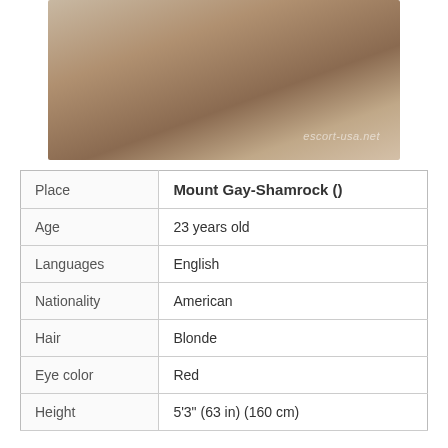[Figure (photo): Photo of a person sitting on a bed with pillows, wearing denim shorts. Watermark reads escort-usa.net.]
| Place | Mount Gay-Shamrock () |
| Age | 23 years old |
| Languages | English |
| Nationality | American |
| Hair | Blonde |
| Eye color | Red |
| Height | 5'3" (63 in) (160 cm) |